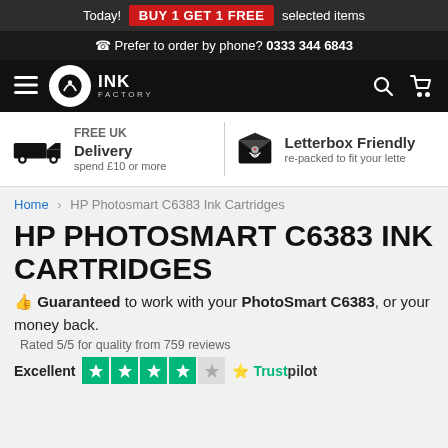Today! BUY 1 GET 1 FREE selected items
☎ Prefer to order by phone? 0333 344 6843
INK FACTORY — navigation bar
FREE UK Delivery spend £10 or more | Letterbox Friendly re-packed to fit your lette
Home > HP Photosmart C6383 Ink Cartridges
HP PHOTOSMART C6383 INK CARTRIDGES
👍 Guaranteed to work with your PhotoSmart C6383, or your money back.
Rated 5/5 for quality from 759 reviews
Excellent [5 stars] Trustpilot